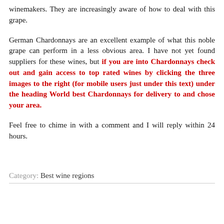winemakers. They are increasingly aware of how to deal with this grape.
German Chardonnays are an excellent example of what this noble grape can perform in a less obvious area. I have not yet found suppliers for these wines, but if you are into Chardonnays check out and gain access to top rated wines by clicking the three images to the right (for mobile users just under this text) under the heading World best Chardonnays for delivery to and chose your area.
Feel free to chime in with a comment and I will reply within 24 hours.
Category: Best wine regions